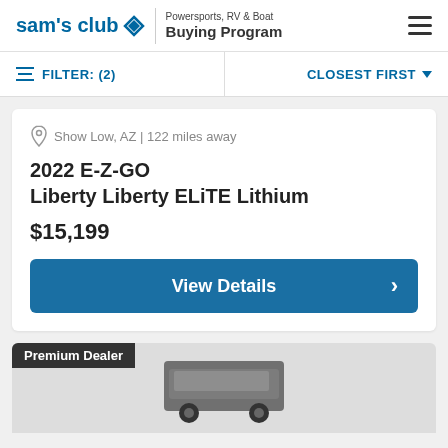sam's club | Powersports, RV & Boat Buying Program
FILTER: (2)   CLOSEST FIRST
Show Low, AZ | 122 miles away
2022 E-Z-GO
Liberty Liberty ELiTE Lithium
$15,199
View Details
Premium Dealer